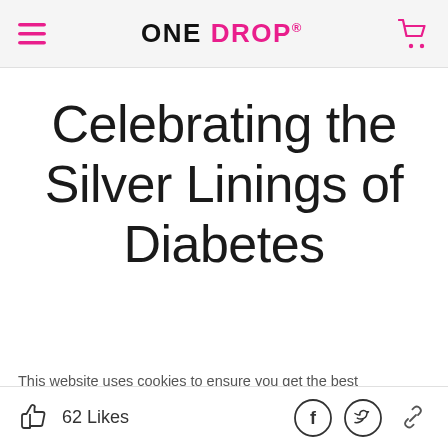ONE DROP
Celebrating the Silver Linings of Diabetes
This website uses cookies to ensure you get the best experience. Learn more
Abeje Bembury
62 Likes